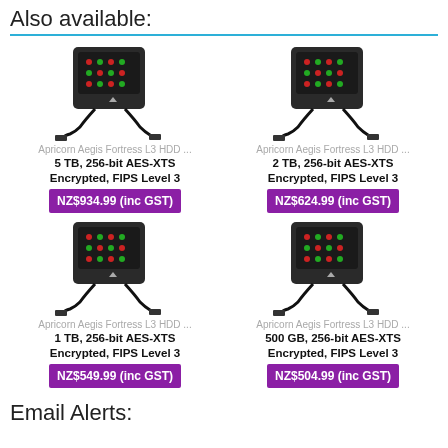Also available:
[Figure (photo): Apricorn Aegis Fortress L3 HDD with keypad and USB cable - 5 TB model]
Apricorn Aegis Fortress L3 HDD ...
5 TB, 256-bit AES-XTS Encrypted, FIPS Level 3
NZ$934.99 (inc GST)
[Figure (photo): Apricorn Aegis Fortress L3 HDD with keypad and USB cable - 2 TB model]
Apricorn Aegis Fortress L3 HDD ...
2 TB, 256-bit AES-XTS Encrypted, FIPS Level 3
NZ$624.99 (inc GST)
[Figure (photo): Apricorn Aegis Fortress L3 HDD with keypad and USB cable - 1 TB model]
Apricorn Aegis Fortress L3 HDD ...
1 TB, 256-bit AES-XTS Encrypted, FIPS Level 3
NZ$549.99 (inc GST)
[Figure (photo): Apricorn Aegis Fortress L3 HDD with keypad and USB cable - 500 GB model]
Apricorn Aegis Fortress L3 HDD ...
500 GB, 256-bit AES-XTS Encrypted, FIPS Level 3
NZ$504.99 (inc GST)
Email Alerts: